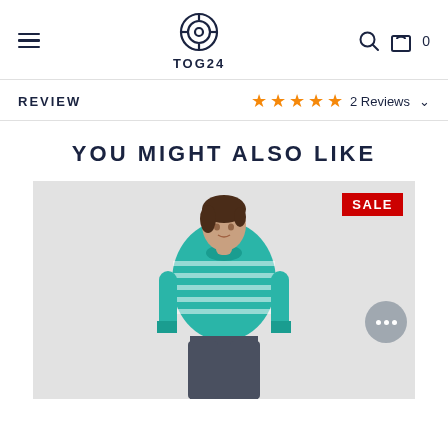TOG24 logo, hamburger menu, search icon, cart icon with 0
REVIEW ★★★★★ 2 Reviews
YOU MIGHT ALSO LIKE
[Figure (photo): A woman wearing a teal/white striped long-sleeve sweater and dark grey trousers, standing against a light grey background. A red SALE badge appears in the upper right corner of the product image.]